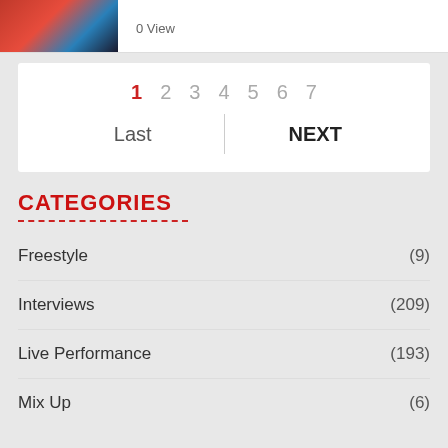0 View
1 2 3 4 5 6 7 Last NEXT
CATEGORIES
Freestyle (9)
Interviews (209)
Live Performance (193)
Mix Up (6)